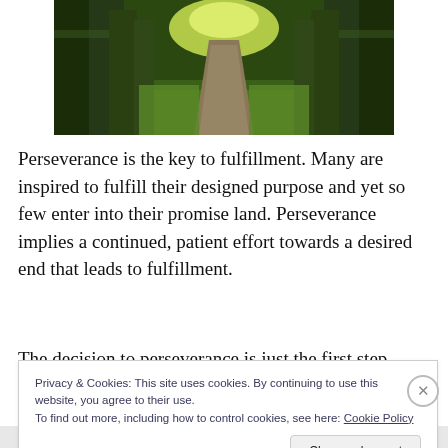[Figure (photo): Forest path lined with tall trees with lush green grass and dappled light at the end of the path]
Perseverance is the key to fulfillment. Many are inspired to fulfill their designed purpose and yet so few enter into their promise land. Perseverance implies a continued, patient effort towards a desired end that leads to fulfillment.
The decision to perseverance is just the first step, finishing
Privacy & Cookies: This site uses cookies. By continuing to use this website, you agree to their use.
To find out more, including how to control cookies, see here: Cookie Policy